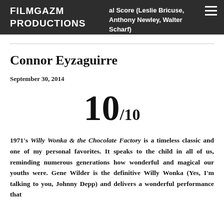FILMGAZM PRODUCTIONS | al Score (Leslie Bricuse, Anthony Newley, Walter Scharf)
Connor Eyzaguirre
September 30, 2014
10/10
1971's Willy Wonka & the Chocolate Factory is a timeless classic and one of my personal favorites. It speaks to the child in all of us, reminding numerous generations how wonderful and magical our youths were. Gene Wilder is the definitive Willy Wonka (Yes, I'm talking to you, Johnny Depp) and delivers a wonderful performance that